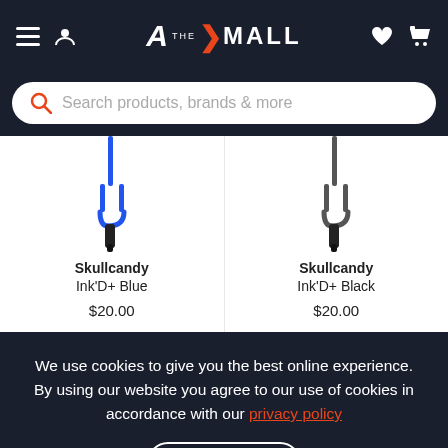THE MALL - navigation header with hamburger menu, user icon, logo, heart and cart icons
[Figure (screenshot): Search bar with orange magnifying glass icon and placeholder text 'Search products, brands & more']
[Figure (photo): Skullcandy Ink'D+ Blue earphones product image]
Skullcandy
Ink'D+ Blue
$20.00
[Figure (photo): Skullcandy Ink'D+ Black earphones product image]
Skullcandy
Ink'D+ Black
$20.00
We use cookies to give you the best online experience. By using our website you agree to our use of cookies in accordance with our privacy policy
Continue